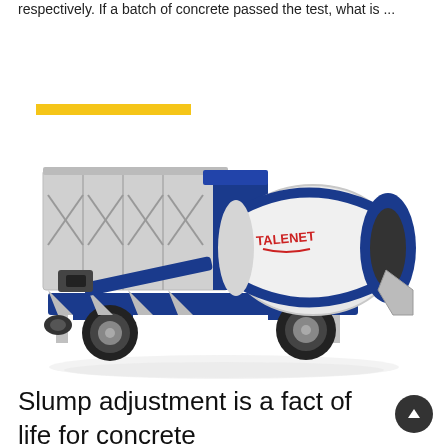respectively. If a batch of concrete passed the test, what is …
Learn More
[Figure (photo): A mobile concrete batching plant on wheels featuring a large rotating drum mixer with TALENET branding, blue and grey color scheme, with aggregate bins and conveyor system mounted on a towable frame.]
Slump adjustment is a fact of life for concrete